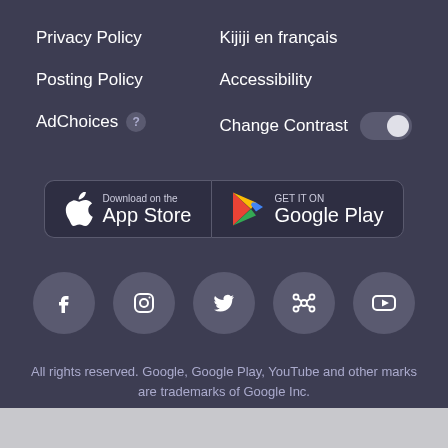Privacy Policy
Kijiji en français
Posting Policy
Accessibility
AdChoices
Change Contrast
[Figure (other): App Store and Google Play download buttons]
[Figure (other): Social media icons: Facebook, Instagram, Twitter, network/share, YouTube]
All rights reserved. Google, Google Play, YouTube and other marks are trademarks of Google Inc.